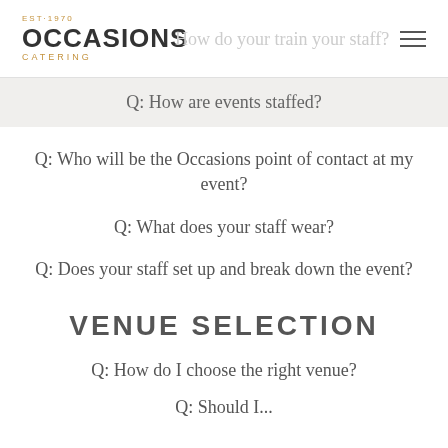EST·1970 OCCASIONS CATERING — How do your train your staff?
Q: How are events staffed?
Q: Who will be the Occasions point of contact at my event?
Q: What does your staff wear?
Q: Does your staff set up and break down the event?
VENUE SELECTION
Q: How do I choose the right venue?
Q: Should I...